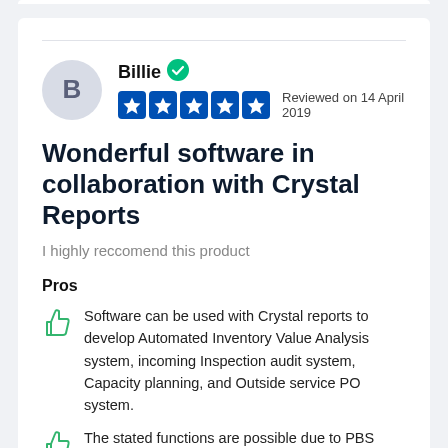Billie · Reviewed on 14 April 2019
Wonderful software in collaboration with Crystal Reports
I highly reccomend this product
Pros
Software can be used with Crystal reports to develop Automated Inventory Value Analysis system, incoming Inspection audit system, Capacity planning, and Outside service PO system.
The stated functions are possible due to PBS